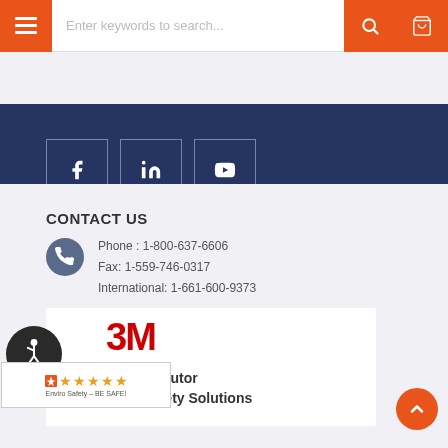[Figure (screenshot): Top navigation bar with orange hamburger menu button, search field 'Enter keywords to search...', orange search icon button, and orange cart/basket button]
[Figure (screenshot): Dark navy blue social media bar with Facebook, LinkedIn, and YouTube icon buttons in outlined squares]
CONTACT US
Phone : 1-800-637-6606
Fax: 1-559-746-0317
International: 1-661-600-9373
[Figure (logo): 3M logo in red, accessibility wheelchair icon badge in dark circle, Yahoo/Shopper-approved rating badge with 4 orange stars, text 'ed Distributor l and Safety Solutions', orange scroll-to-top arrow button]